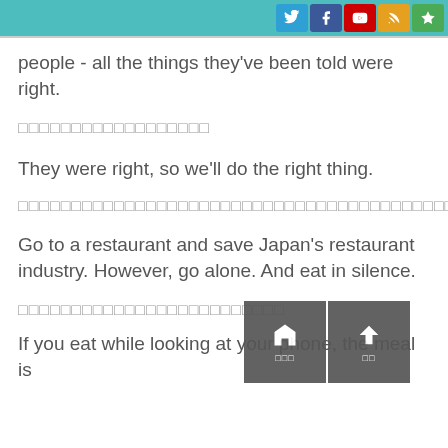[social icons: Twitter, Facebook, YouTube, RSS, Other]
people - all the things they've been told were right.
□□□□□□□□□□□□□□□□□□
They were right, so we'll do the right thing.
□□□□□□□□□□□□□□□□□□□□□□□□□□□□□□□□□□□□□□□□□□□□□
Go to a restaurant and save Japan's restaurant industry. However, go alone. And eat in silence.
□□□□□□□□□□□□□□□□□□□□□□□□□
If you eat while looking at your phone, the meal is